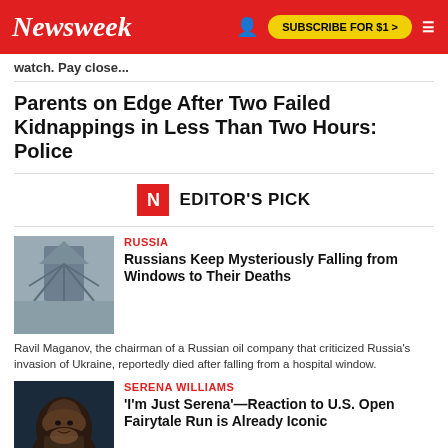Newsweek | SUBSCRIBE FOR $1 >
watch. Pay close...
Parents on Edge After Two Failed Kidnappings in Less Than Two Hours: Police
EDITOR'S PICK
RUSSIA
Russians Keep Mysteriously Falling from Windows to Their Deaths
Ravil Maganov, the chairman of a Russian oil company that criticized Russia's invasion of Ukraine, reportedly died after falling from a hospital window.
SERENA WILLIAMS
'I'm Just Serena'—Reaction to U.S. Open Fairytale Run is Already Iconic
Serena Williams has delighted tennis fans by defeating world No.2 Anett Kontaveit following her